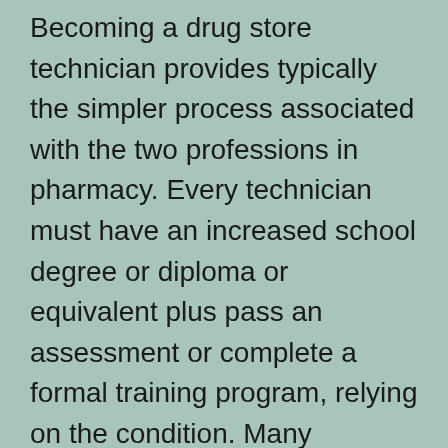Becoming a drug store technician provides typically the simpler process associated with the two professions in pharmacy. Every technician must have an increased school degree or diploma or equivalent plus pass an assessment or complete a formal training program, relying on the condition. Many pharmacy technicians learn their abilities on-site, but some will attend vocational schools or community colleges to finish plans in pharmacy technologies. These programs detail arithmetic, pharmacy regulation and ethics, and record keeping. This kind of path enables the quickest work straight out of high school for